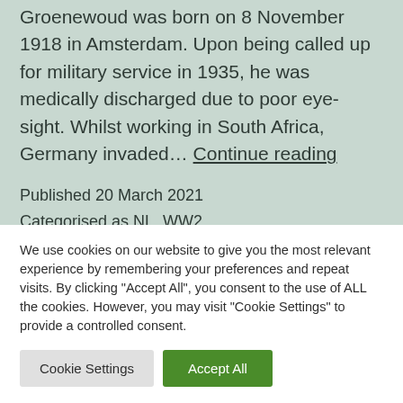Groenewoud was born on 8 November 1918 in Amsterdam. Upon being called up for military service in 1935, he was medically discharged due to poor eye-sight. Whilst working in South Africa, Germany invaded… Continue reading
Published 20 March 2021
Categorised as NL, WW2
We use cookies on our website to give you the most relevant experience by remembering your preferences and repeat visits. By clicking "Accept All", you consent to the use of ALL the cookies. However, you may visit "Cookie Settings" to provide a controlled consent.